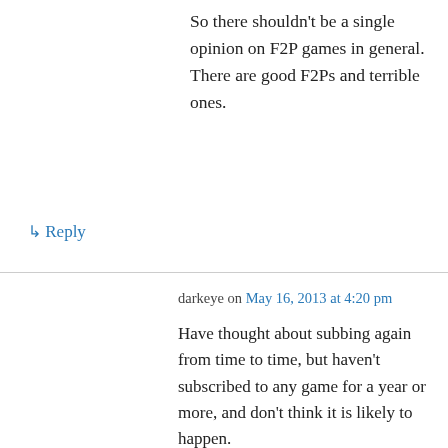So there shouldn't be a single opinion on F2P games in general. There are good F2Ps and terrible ones.
↳ Reply
darkeye on May 16, 2013 at 4:20 pm
Have thought about subbing again from time to time, but haven't subscribed to any game for a year or more, and don't think it is likely to happen.
At the moment I have GW2 (B2P), TSW (B2P) and Lotro (B2P!), between those three there is more than enough engaging content that I don't really think about playing anything else. AoC is